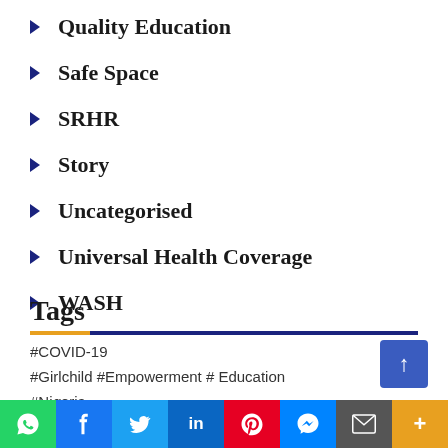Quality Education
Safe Space
SRHR
Story
Uncategorised
Universal Health Coverage
WASH
Tags
#COVID-19
#Girlchild #Empowerment # Education
#Nigeria